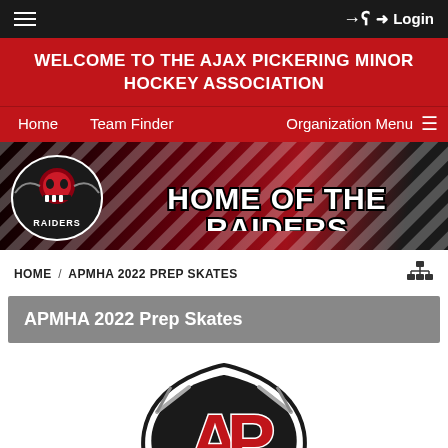≡  Login
WELCOME TO THE AJAX PICKERING MINOR HOCKEY ASSOCIATION
Home  Team Finder  Organization Menu ≡
[Figure (illustration): Ajax Pickering Raiders hockey banner with Raiders logo on left and text HOME OF THE RAIDERS on right, dark red and black background with dynamic diagonal lines]
HOME / APMHA 2022 PREP SKATES
APMHA 2022 Prep Skates
[Figure (logo): Ajax Pickering Hockey Association logo with red AP letters and crossed hockey sticks, black and white border]